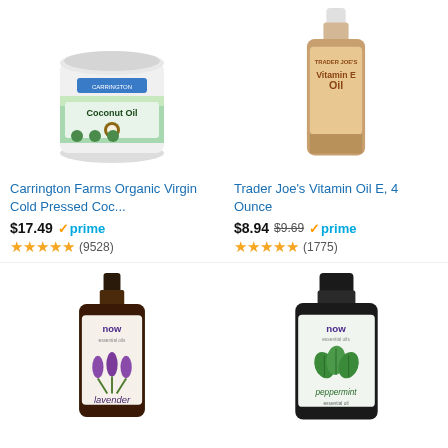[Figure (photo): Carrington Farms Organic Coconut Oil jar product photo]
Carrington Farms Organic Virgin Cold Pressed Coc...
$17.49 prime (9528 reviews)
[Figure (photo): Trader Joe's Vitamin E Oil bottle product photo]
Trader Joe's Vitamin Oil E, 4 Ounce
$8.94 $9.69 prime (1775 reviews)
[Figure (photo): NOW Essential Oils Lavender Oil bottle product photo]
NOW Essential Oils, Lavender Oil, Soothing Aromatherapy ...
$25.25 $39.99 prime (9567 reviews)
[Figure (photo): Now Peppermint Essential Oil bottle product photo]
Now Peppermint Essential Oil, 4-Ounce
$15.09 $19.99 (6221 reviews)